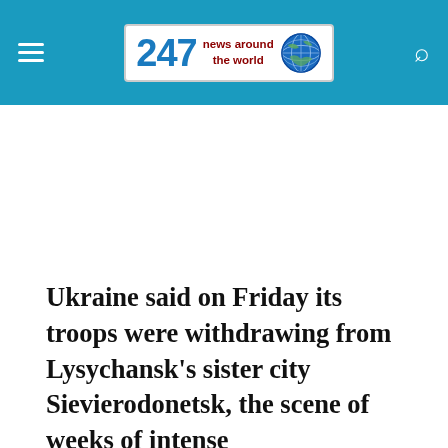247 news around the world
Ukraine said on Friday its troops were withdrawing from Lysychansk's sister city Sievierodonetsk, the scene of weeks of intense bombardments and street fighting, in what